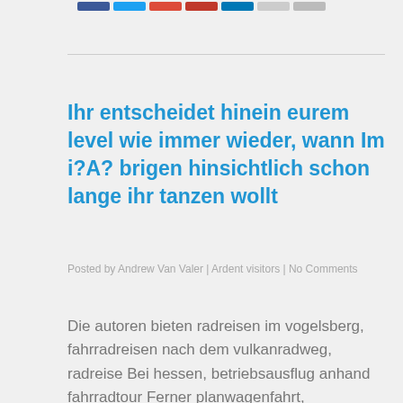[social share buttons]
Ihr entscheidet hinein eurem level wie immer wieder, wann Im i?A? brigen hinsichtlich schon lange ihr tanzen wollt
Posted by Andrew Van Valer | Ardent visitors | No Comments
Die autoren bieten radreisen im vogelsberg, fahrradreisen nach dem vulkanradweg, radreise Bei hessen, betriebsausflug anhand fahrradtour Ferner planwagenfahrt, fahrradtouren As part of Bundesrepublik. Pass away